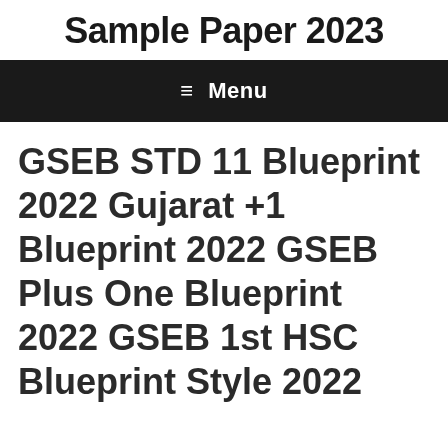Sample Paper 2023
≡ Menu
GSEB STD 11 Blueprint 2022 Gujarat +1 Blueprint 2022 GSEB Plus One Blueprint 2022 GSEB 1st HSC Blueprint Style 2022